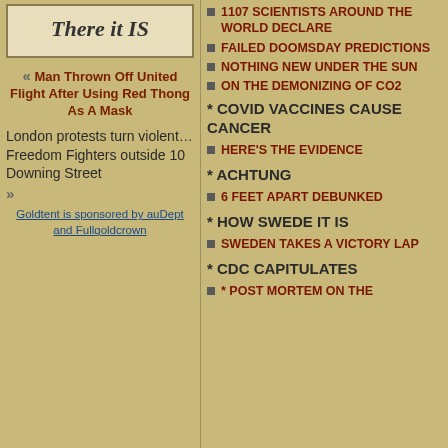[Figure (other): Box with italic text 'There it IS']
« Man Thrown Off United Flight After Using Red Thong As A Mask
London protests turn violent…Freedom Fighters outside 10 Downing Street
»
Goldtent is sponsored by auDept and Fullgoldcrown
1107 SCIENTISTS AROUND THE WORLD DECLARE
FAILED DOOMSDAY PREDICTIONS
NOTHING NEW UNDER THE SUN
ON THE DEMONIZING OF CO2
* COVID VACCINES CAUSE CANCER
HERE'S THE EVIDENCE
* ACHTUNG
6 FEET APART DEBUNKED
* HOW SWEDE IT IS
SWEDEN TAKES A VICTORY LAP
* CDC CAPITULATES
* POST MORTEM ON THE